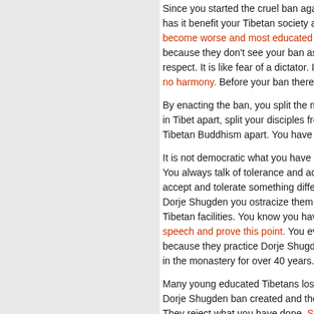August 13, 2018
Since you started the cruel ban against the 350 ye... has it benefit your Tibetan society and Buddhism... become worse and most educated Tibetans can s... because they don't see your ban as wrong, but yo... respect. It is like fear of a dictator. I am sorry to sa... no harmony. Before your ban there was more harm...
By enacting the ban, you split the monasteries, sp... in Tibet apart, split your disciples from you, split yo... Tibetan Buddhism apart. You have created so mu...
It is not democratic what you have done to ban a r... You always talk of tolerance and acceptance and... accept and tolerate something different from your... Dorje Shugden you ostracize them, ban them from... Tibetan facilities. You know you have done that. T... speech and prove this point. You even had people... because they practice Dorje Shugden. Some of the... in the monastery for over 40 years. Many older mo...
Many young educated Tibetans lost confidence in... Dorje Shugden ban created and they lose hope. M... They reject what you have done. So many people i... because of the confusion you created with this ba... is immoral.